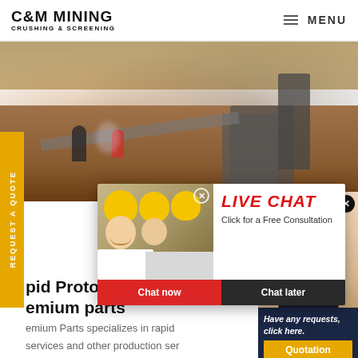C&M MINING CRUSHING & SCREENING | MENU
[Figure (photo): Aerial view of mining crushing and screening machinery on a construction/mining site with workers visible]
REQUEST A QUOTE
[Figure (screenshot): Live chat popup widget showing workers in hard hats, text 'LIVE CHAT Click for a Free Consultation' with 'Chat now' (red) and 'Chat later' (dark) buttons]
[Figure (photo): Customer service agent (woman with headset) popup with dark blue background panel saying 'Have any requests, click here.' and a gold Quotation button]
pid Prototyping Services, Lo
emium parts
emium Parts specializes in rapid services and other production ser machining, sheet metal, rapid too